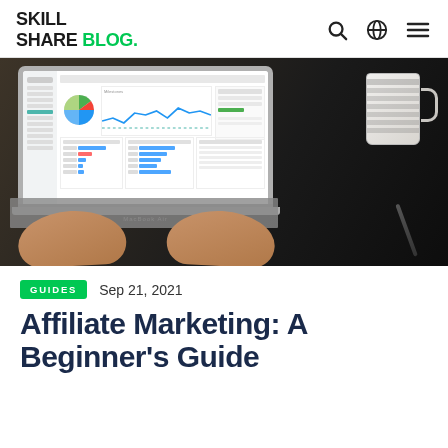SKILL SHARE Blog.
[Figure (photo): Person typing on a MacBook laptop displaying a Google Analytics dashboard with pie chart, line graphs, and bar charts. A striped coffee mug and pen are visible on the dark wooden desk.]
GUIDES  Sep 21, 2021
Affiliate Marketing: A Beginner's Guide